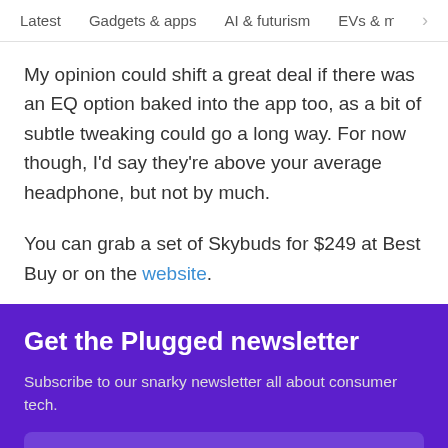Latest   Gadgets & apps   AI & futurism   EVs & mobil  >
My opinion could shift a great deal if there was an EQ option baked into the app too, as a bit of subtle tweaking could go a long way. For now though, I'd say they're above your average headphone, but not by much.
You can grab a set of Skybuds for $249 at Best Buy or on the website.
Get the Plugged newsletter
Subscribe to our snarky newsletter all about consumer tech.